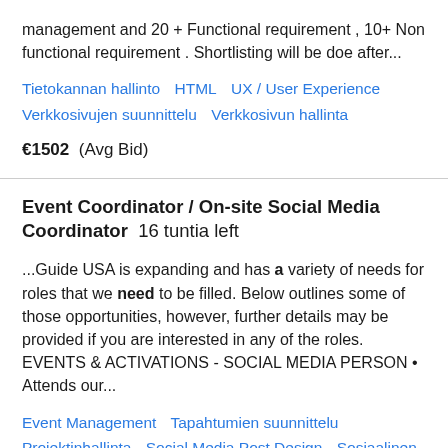management and 20 + Functional requirement , 10+ Non functional requirement . Shortlisting will be doe after...
Tietokannan hallinto    HTML    UX / User Experience    Verkkosivujen suunnittelu    Verkkosivun hallinta
€1502  (Avg Bid)
Event Coordinator / On-site Social Media Coordinator   16 tuntia left
...Guide USA is expanding and has a variety of needs for roles that we need to be filled. Below outlines some of those opportunities, however, further details may be provided if you are interested in any of the roles. EVENTS & ACTIVATIONS - SOCIAL MEDIA PERSON • Attends our...
Event Management    Tapahtumien suunnittelu    Projektinhallinta    Social Media Post Design    Sosiaalinen verkostoituminen
€537  (Avg Bid)